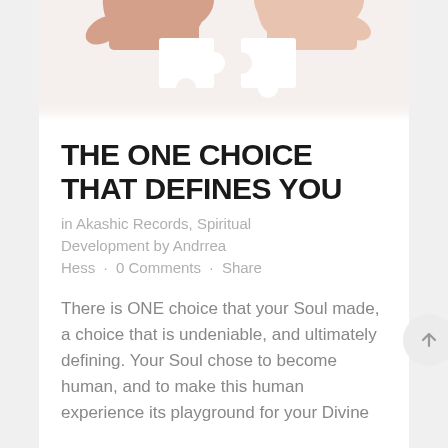[Figure (photo): Two hands from above and below holding two interlocking white puzzle pieces against a white background]
THE ONE CHOICE THAT DEFINES YOU
in Akashic Records, Spiritual Development by Andrrea Hess · 0 Comments · Share
There is ONE choice that your Soul made, a choice that is undeniable, and ultimately defining. Your Soul chose to become human, and to make this human experience its playground for your Divine